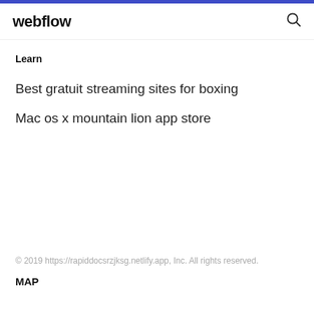webflow
Learn
Best gratuit streaming sites for boxing
Mac os x mountain lion app store
© 2019 https://rapiddocsrzjksg.netlify.app, Inc. All rights reserved.
MAP